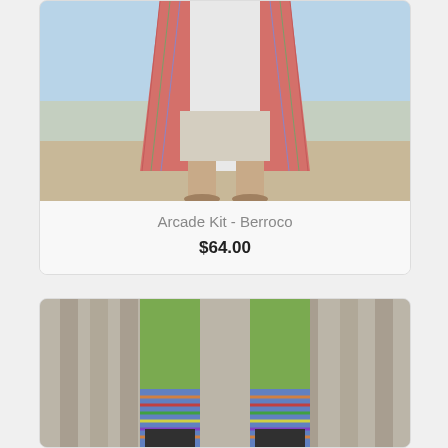[Figure (photo): Person standing at a beach wearing a colorful knit open cardigan over white shorts, photographed from the waist down]
Arcade Kit - Berroco
$64.00
[Figure (photo): Close-up of person wearing green leggings and colorful knit leg warmers/boot toppers, bending over near a wooden fence]